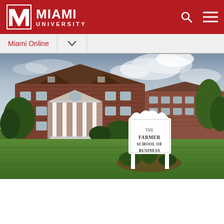Miami University
Miami Online
[Figure (photo): Exterior photograph of The Farmer School of Business at Miami University. A red brick building with white columned portico is visible on the left. A prominent white sign reading 'THE FARMER SCHOOL OF BUSINESS' stands on posts in front. Lush green lawn and trees fill the foreground and background under a dramatic cloudy sky.]